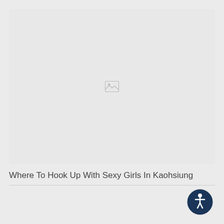[Figure (photo): Broken/missing image placeholder icon in a light gray rectangular area]
Where To Hook Up With Sexy Girls In Kaohsiung
[Figure (illustration): Accessibility icon button — dark navy circle with a white human figure (wheelchair/person) symbol inside]